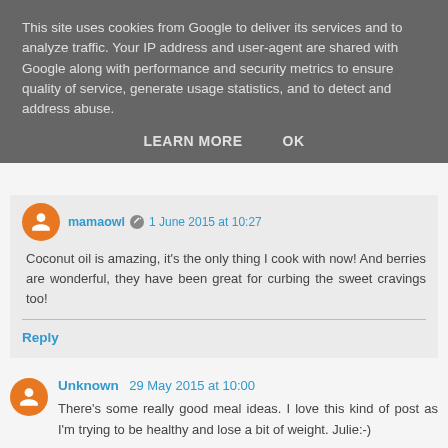This site uses cookies from Google to deliver its services and to analyze traffic. Your IP address and user-agent are shared with Google along with performance and security metrics to ensure quality of service, generate usage statistics, and to detect and address abuse.
LEARN MORE   OK
mamaowl  1 June 2015 at 10:27
Coconut oil is amazing, it's the only thing I cook with now! And berries are wonderful, they have been great for curbing the sweet cravings too!
Reply
Unknown  29 May 2015 at 10:00
There's some really good meal ideas. I love this kind of post as I'm trying to be healthy and lose a bit of weight. Julie:-)
Reply